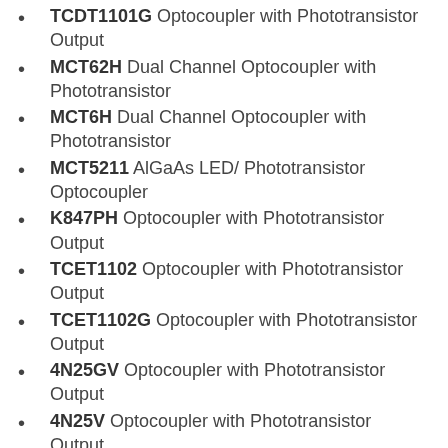TCDT1101G Optocoupler with Phototransistor Output
MCT62H Dual Channel Optocoupler with Phototransistor
MCT6H Dual Channel Optocoupler with Phototransistor
MCT5211 AlGaAs LED/ Phototransistor Optocoupler
K847PH Optocoupler with Phototransistor Output
TCET1102 Optocoupler with Phototransistor Output
TCET1102G Optocoupler with Phototransistor Output
4N25GV Optocoupler with Phototransistor Output
4N25V Optocoupler with Phototransistor Output